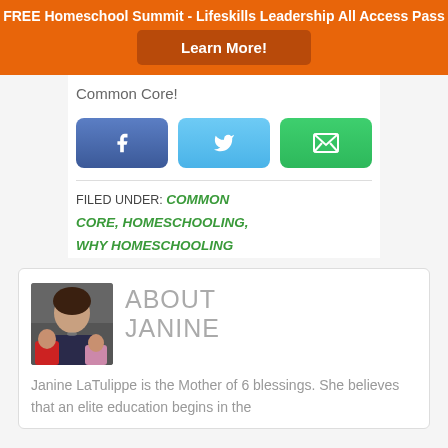FREE Homeschool Summit - Lifeskills Leadership All Access Pass
Learn More!
Common Core!
[Figure (other): Social sharing buttons: Facebook (blue), Twitter (light blue), Email (green)]
FILED UNDER: COMMON CORE, HOMESCHOOLING, WHY HOMESCHOOLING
[Figure (photo): Photo of Janine LaTulippe with children]
ABOUT JANINE
Janine LaTulippe is the Mother of 6 blessings. She believes that an elite education begins in the